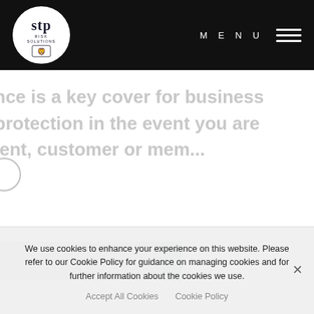[Figure (logo): STP Risk Solutions logo — circular white badge with 'stp' in large text, 'RISK SOLUTIONS' below, and a heraldic lion/shield emblem beneath, set on a black header bar]
MENU
nce is a key cover for business protection in the event you are ient, customer or mem...
We use cookies to enhance your experience on this website. Please refer to our Cookie Policy for guidance on managing cookies and for further information about the cookies we use.
Accept All Cookies   Cookie Policy